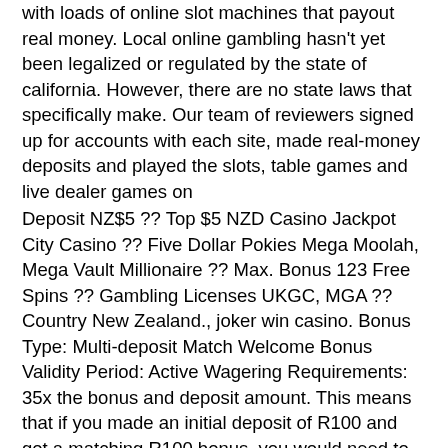with loads of online slot machines that payout real money. Local online gambling hasn't yet been legalized or regulated by the state of california. However, there are no state laws that specifically make. Our team of reviewers signed up for accounts with each site, made real-money deposits and played the slots, table games and live dealer games on
Deposit NZ$5 ?? Top $5 NZD Casino Jackpot City Casino ?? Five Dollar Pokies Mega Moolah, Mega Vault Millionaire ?? Max. Bonus 123 Free Spins ?? Gambling Licenses UKGC, MGA ?? Country New Zealand., joker win casino. Bonus Type: Multi-deposit Match Welcome Bonus Validity Period: Active Wagering Requirements: 35x the bonus and deposit amount. This means that if you made an initial deposit of R100 and got a matching R100 bonus, you would need to wager R7000, i, las vegas live online casino. It's fairly easy to research them if you